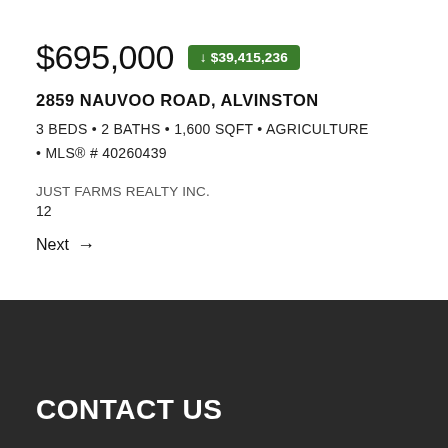$695,000 ↓ $39,415,236
2859 NAUVOO ROAD, ALVINSTON
3 BEDS • 2 BATHS • 1,600 SQFT • AGRICULTURE • MLS® # 40260439
JUST FARMS REALTY INC.
12
Next →
CONTACT US